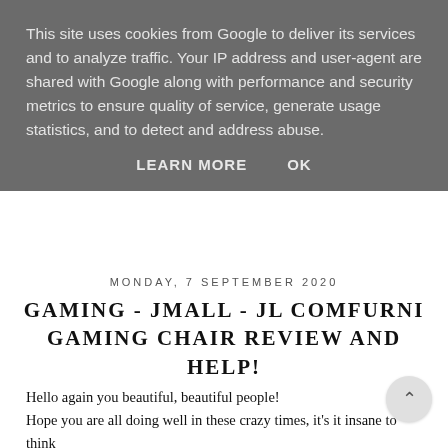This site uses cookies from Google to deliver its services and to analyze traffic. Your IP address and user-agent are shared with Google along with performance and security metrics to ensure quality of service, generate usage statistics, and to detect and address abuse.
LEARN MORE   OK
MONDAY, 7 SEPTEMBER 2020
GAMING - JMALL - JL COMFURNI GAMING CHAIR REVIEW AND HELP!
Hello again you beautiful, beautiful people!
Hope you are all doing well in these crazy times, it's it insane to think